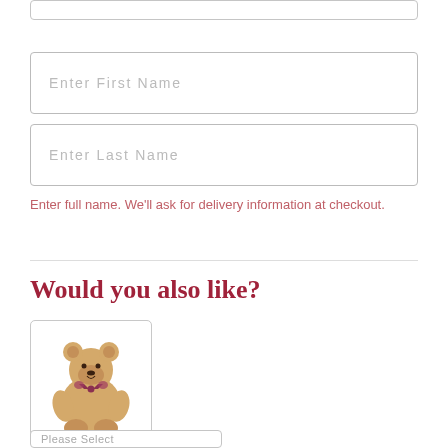Enter First Name
Enter Last Name
Enter full name. We'll ask for delivery information at checkout.
Would you also like?
[Figure (photo): 18 inch Lotsa Love Bear plush teddy bear with bow]
18" Lotsa Love® Bear
Please Select